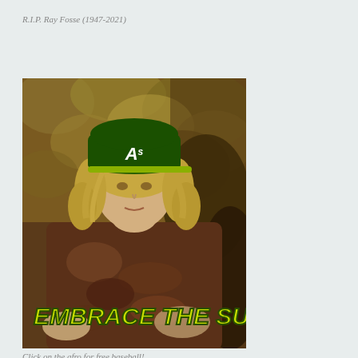R.I.P. Ray Fosse (1947-2021)
[Figure (photo): Vintage photograph of a young man with long blond hair wearing an Oakland Athletics green baseball cap, dressed in a patterned brown shirt. The background appears to be foliage. Text overlay at the bottom reads 'EMBRACE THE SUCK' in large green italic letters.]
Click on the afro for free baseball!